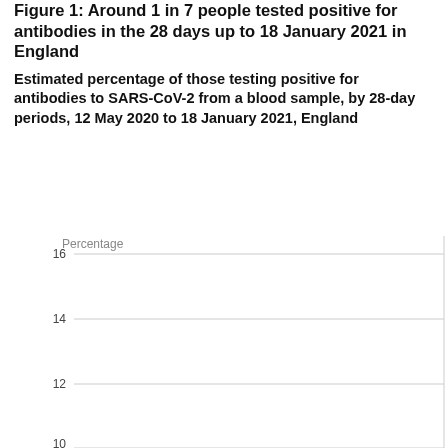Figure 1: Around 1 in 7 people tested positive for antibodies in the 28 days up to 18 January 2021 in England
Estimated percentage of those testing positive for antibodies to SARS-CoV-2 from a blood sample, by 28-day periods, 12 May 2020 to 18 January 2021, England
[Figure (continuous-plot): Partial line chart showing y-axis with gridlines at 10, 12, 14, 16 percentage. The chart is cropped and only shows the top portion of the axes. X-axis not visible in this portion of the page.]